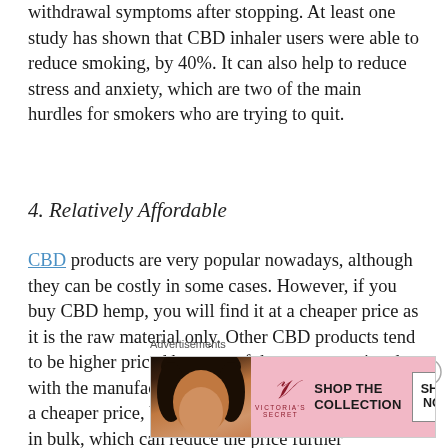withdrawal symptoms after stopping. At least one study has shown that CBD inhaler users were able to reduce smoking, by 40%. It can also help to reduce stress and anxiety, which are two of the main hurdles for smokers who are trying to quit.
4. Relatively Affordable
CBD products are very popular nowadays, although they can be costly in some cases. However, if you buy CBD hemp, you will find it at a cheaper price as it is the raw material only. Other CBD products tend to be higher priced because of the costs associated with the manufacturing process. If you want CBD at a cheaper price, buy hemp flowers. You can also buy in bulk, which can reduce the price further
Advertisements
[Figure (other): Victoria's Secret advertisement banner with a model, VS logo, 'SHOP THE COLLECTION' text and 'SHOP NOW' button on a pink background]